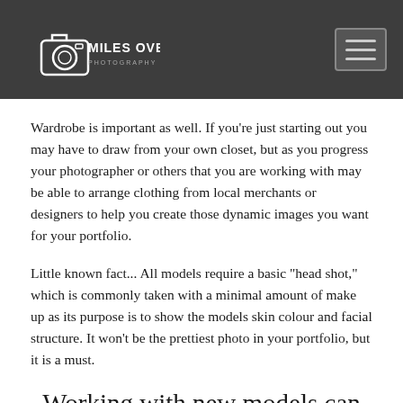Miles Overn Photography
Wardrobe is important as well. If you're just starting out you may have to draw from your own closet, but as you progress your photographer or others that you are working with may be able to arrange clothing from local merchants or designers to help you create those dynamic images you want for your portfolio.
Little known fact... All models require a basic "head shot," which is commonly taken with a minimal amount of make up as its purpose is to show the models skin colour and facial structure. It won't be the prettiest photo in your portfolio, but it is a must.
Working with new models can be so much fun. Text us if